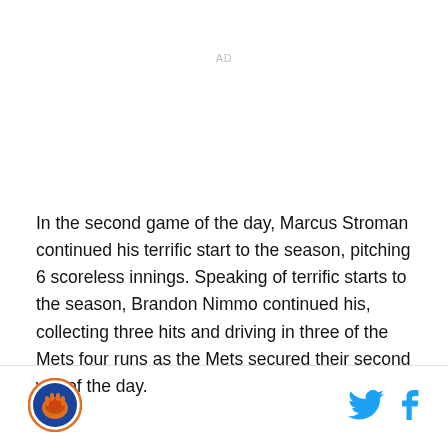AD
In the second game of the day, Marcus Stroman continued his terrific start to the season, pitching 6 scoreless innings. Speaking of terrific starts to the season, Brandon Nimmo continued his, collecting three hits and driving in three of the Mets four runs as the Mets secured their second win of the day.
[Figure (logo): Circular sports team logo with orange and blue colors, appears to be a Mets-related site logo]
[Figure (logo): Twitter bird icon in cyan/blue]
[Figure (logo): Facebook f icon in cyan/blue]